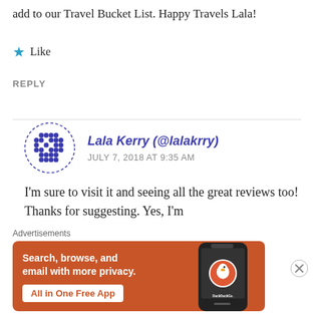add to our Travel Bucket List. Happy Travels Lala!
★ Like
REPLY
Lala Kerry (@lalakrry) JULY 7, 2018 AT 9:35 AM
I'm sure to visit it and seeing all the great reviews too! Thanks for suggesting. Yes, I'm
Advertisements
[Figure (infographic): DuckDuckGo advertisement banner with orange background. Text: Search, browse, and email with more privacy. All in One Free App. Shows a phone with DuckDuckGo logo.]